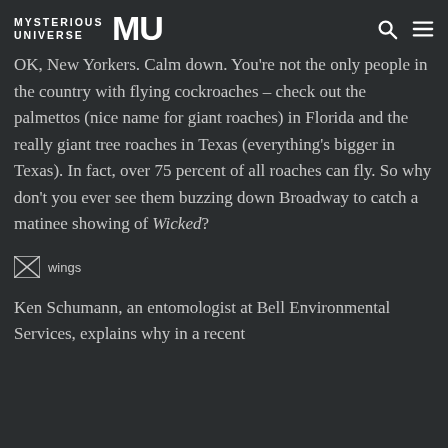MYSTERIOUS UNIVERSE MU [logo with search and menu icons]
OK, New Yorkers. Calm down. You're not the only people in the country with flying cockroaches – check out the palmettos (nice name for giant roaches) in Florida and the really giant tree roaches in Texas (everything's bigger in Texas). In fact, over 75 percent of all roaches can fly. So why don't you ever see them buzzing down Broadway to catch a matinee showing of Wicked?
[Figure (photo): Image placeholder labeled 'wings' showing a broken/unloaded image icon]
Ken Schumann, an entomologist at Bell Environmental Services, explains why in a recent